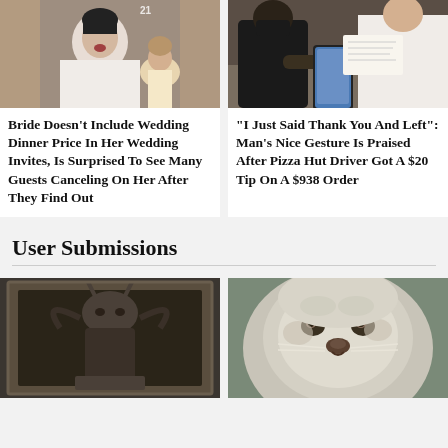[Figure (photo): Bride in white wedding dress looking upset, seated at a table with another person]
Bride Doesn't Include Wedding Dinner Price In Her Wedding Invites, Is Surprised To See Many Guests Canceling On Her After They Find Out
[Figure (photo): Two people looking at a phone, one wearing a black jacket and mask]
"I Just Said Thank You And Left": Man's Nice Gesture Is Praised After Pizza Hut Driver Got A $20 Tip On A $938 Order
User Submissions
[Figure (photo): Dark sculpture or figurine of a gargoyle or demon in a wooden frame]
[Figure (photo): Close-up of a fluffy animal face, possibly a snow leopard or similar animal]